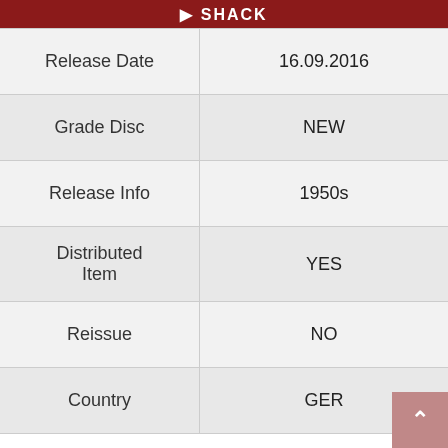SHACK
| Field | Value |
| --- | --- |
| Release Date | 16.09.2016 |
| Grade Disc | NEW |
| Release Info | 1950s |
| Distributed Item | YES |
| Reissue | NO |
| Country | GER |